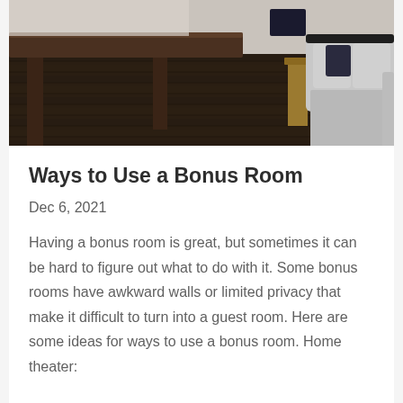[Figure (photo): Interior photo of a bonus room or living room showing dark hardwood floors, a light grey sofa on the right, and the edge of a dark wooden table on the left. The room has a modern, neutral aesthetic.]
Ways to Use a Bonus Room
Dec 6, 2021
Having a bonus room is great, but sometimes it can be hard to figure out what to do with it. Some bonus rooms have awkward walls or limited privacy that make it difficult to turn into a guest room. Here are some ideas for ways to use a bonus room. Home theater: